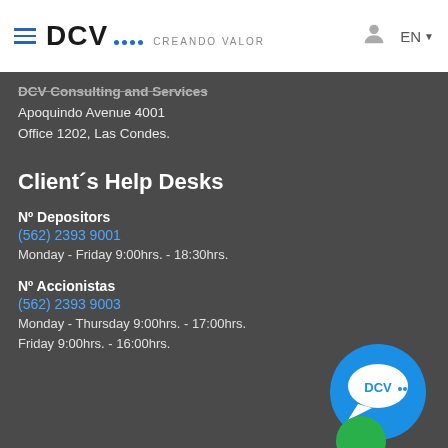DCV CREANDO VALOR — EN
DCV Consulting and Services
Apoquindo Avenue 4001
Office 1202, Las Condes.
Client´s Help Desks
Nº Depositors
(562) 2393 9001
Monday - Friday 9:00hrs. - 18:30hrs.
Nº Accionistas
(562) 2393 9003
Monday - Thursday 9:00hrs. - 17:00hrs.
Friday 9:00hrs. - 16:00hrs.
[Figure (logo): DCV chat bubble logo in blue circle with speech bubble icon]